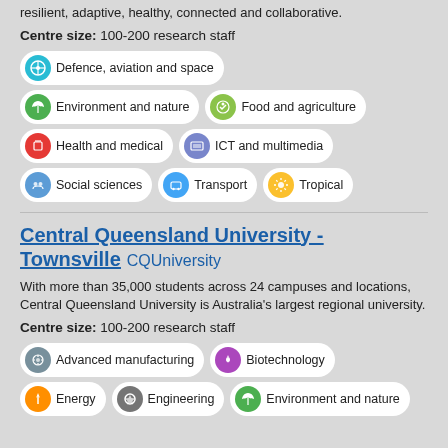resilient, adaptive, healthy, connected and collaborative.
Centre size: 100-200 research staff
Defence, aviation and space
Environment and nature
Food and agriculture
Health and medical
ICT and multimedia
Social sciences
Transport
Tropical
Central Queensland University - Townsville CQUniversity
With more than 35,000 students across 24 campuses and locations, Central Queensland University is Australia's largest regional university.
Centre size: 100-200 research staff
Advanced manufacturing
Biotechnology
Energy
Engineering
Environment and nature